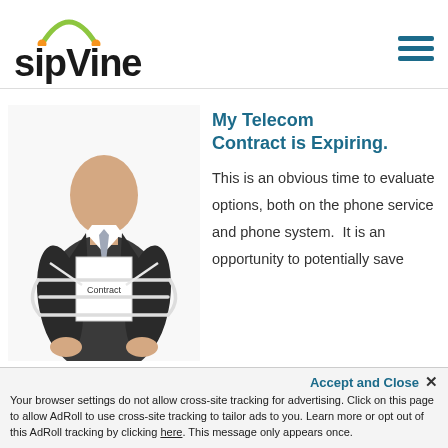[Figure (logo): sipVine logo with green arc above text]
[Figure (illustration): Man in suit tied up with rope holding a Contract document]
My Telecom Contract is Expiring.
This is an obvious time to evaluate options, both on the phone service and phone system.  It is an opportunity to potentially save
Accept and Close ×
Your browser settings do not allow cross-site tracking for advertising. Click on this page to allow AdRoll to use cross-site tracking to tailor ads to you. Learn more or opt out of this AdRoll tracking by clicking here. This message only appears once.